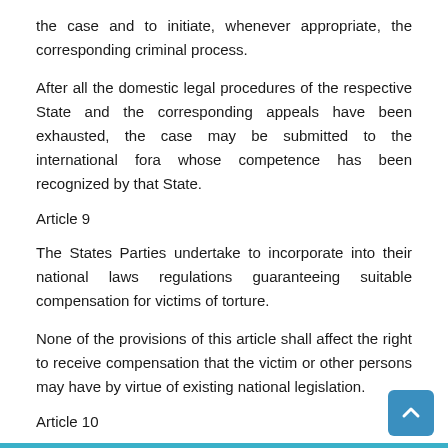the case and to initiate, whenever appropriate, the corresponding criminal process.
After all the domestic legal procedures of the respective State and the corresponding appeals have been exhausted, the case may be submitted to the international fora whose competence has been recognized by that State.
Article 9
The States Parties undertake to incorporate into their national laws regulations guaranteeing suitable compensation for victims of torture.
None of the provisions of this article shall affect the right to receive compensation that the victim or other persons may have by virtue of existing national legislation.
Article 10
No statement that is verified as having been obtained through